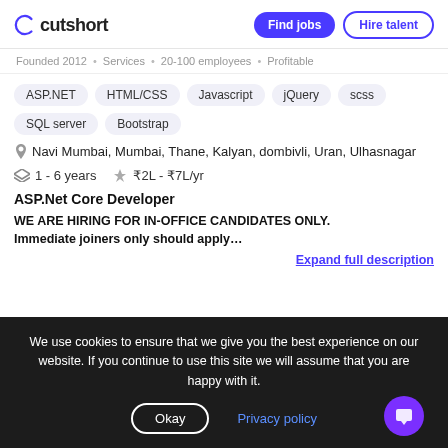cutshort | Find jobs | Hire talent
Founded 2012 · Services · 20-100 employees · Profitable
ASP.NET
HTML/CSS
Javascript
jQuery
scss
SQL server
Bootstrap
Navi Mumbai, Mumbai, Thane, Kalyan, dombivli, Uran, Ulhasnagar
1 - 6 years   ₹2L - ₹7L/yr
ASP.Net Core Developer
WE ARE HIRING FOR IN-OFFICE CANDIDATES ONLY.
Immediate joiners only should apply...
Expand full description
We use cookies to ensure that we give you the best experience on our website. If you continue to use this site we will assume that you are happy with it.
Okay | Privacy policy